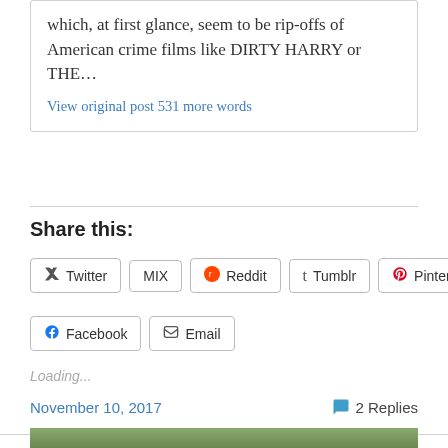which, at first glance, seem to be rip-offs of American crime films like DIRTY HARRY or THE…
View original post 531 more words
Share this:
Twitter MIX Reddit Tumblr Pinterest 3 Facebook Email
Loading...
November 10, 2017
2 Replies
[Figure (photo): Bottom partial image showing green/foliage background]